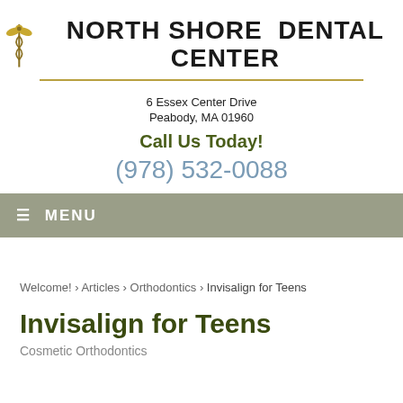[Figure (logo): North Shore Dental Center logo with caduceus symbol and text]
6 Essex Center Drive
Peabody, MA 01960
Call Us Today!
(978) 532-0088
≡ MENU
Welcome! › Articles › Orthodontics › Invisalign for Teens
Invisalign for Teens
Cosmetic Orthodontics